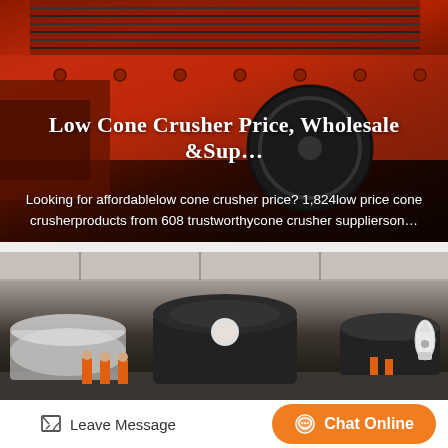[Figure (photo): Close-up photo of a large red industrial cone crusher machine with mechanical components, springs, and a large flywheel visible]
Low Cone Crusher Price, Wholesale &Sup...
Looking for affordablelow cone crusher price? 1,824low price cone crusherproducts from 608 trustworthycone crusher supplierson...
[Figure (photo): Industrial factory floor with large black cone crusher machines and workers in orange safety vests standing nearby]
Leave Message
Chat Online